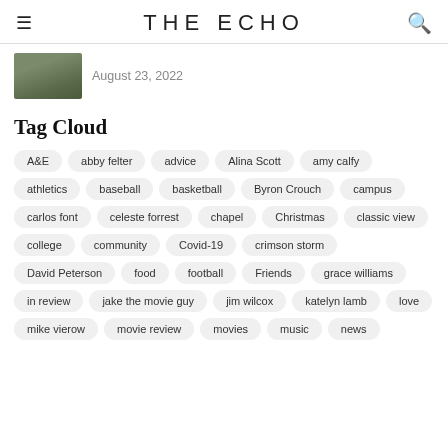THE ECHO
August 23, 2022
Tag Cloud
A&E
abby felter
advice
Alina Scott
amy calfy
athletics
baseball
basketball
Byron Crouch
campus
carlos font
celeste forrest
chapel
Christmas
classic view
college
community
Covid-19
crimson storm
David Peterson
food
football
Friends
grace williams
in review
jake the movie guy
jim wilcox
katelyn lamb
love
mike vierow
movie review
movies
music
news